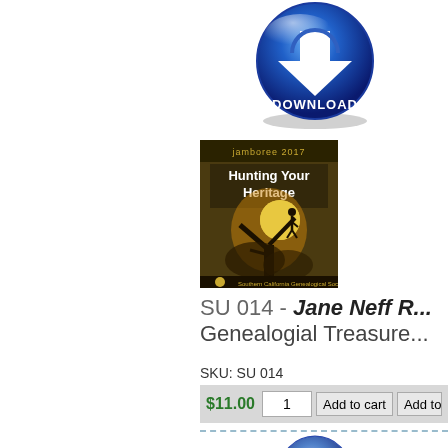[Figure (illustration): Blue circular download button with white downward arrow and 'DOWNLOAD' text label]
[Figure (illustration): Book cover for Jamboree 2017 'Hunting Your Heritage' showing silhouette of person leaping from tree]
SU 014 - Jane Neff R... Genealogial Treasure...
SKU: SU 014
$11.00
[Figure (illustration): Partial blue circular download button (bottom portion visible)]